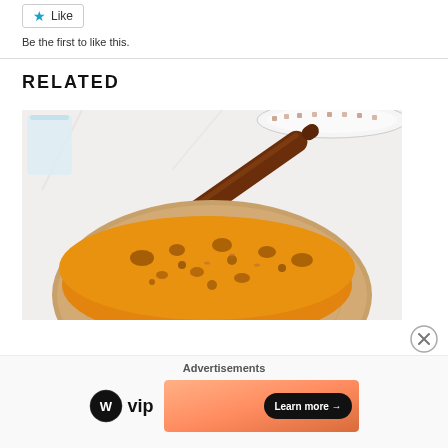[Figure (other): Like button with blue star icon]
Be the first to like this.
RELATED
[Figure (photo): Photo of flatbreads (chapati/paratha) stacked on a wooden board with a rolling pin on a white marble surface]
[Figure (other): Close/dismiss button (circled X)]
Advertisements
[Figure (logo): WordPress VIP logo with Learn more button on a gradient banner advertisement]